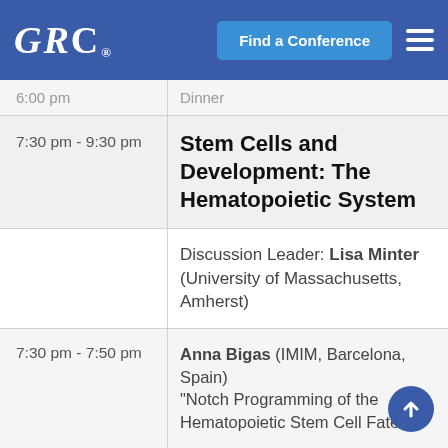GRC Find a Conference
| Time | Event |
| --- | --- |
| 6:00 pm | Dinner |
| 7:30 pm - 9:30 pm | Stem Cells and Development: The Hematopoietic System |
|  | Discussion Leader: Lisa Minter (University of Massachusetts, Amherst) |
| 7:30 pm - 7:50 pm | Anna Bigas (IMIM, Barcelona, Spain) "Notch Programming of the Hematopoietic Stem Cell Fate" |